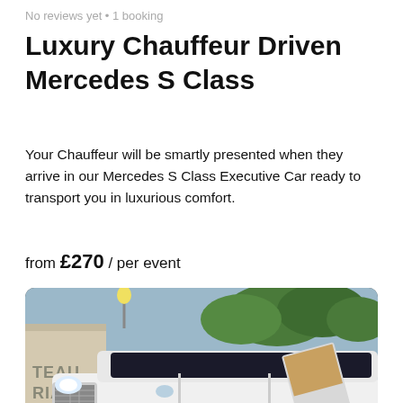No reviews yet • 1 booking
Luxury Chauffeur Driven Mercedes S Class
Your Chauffeur will be smartly presented when they arrive in our Mercedes S Class Executive Car ready to transport you in luxurious comfort.
from £270 / per event
[Figure (photo): White stretched Range Rover limousine with open door parked outside a venue with trees in background. Text on wall reads TEAB RIAND CATERERS.]